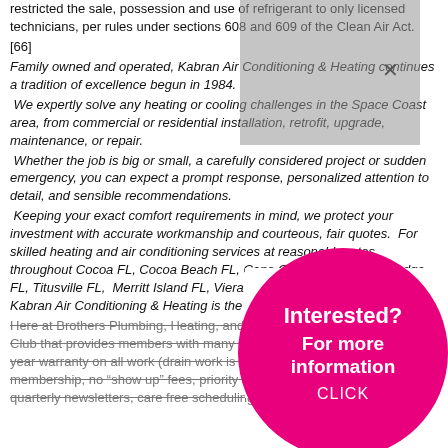restricted the sale, possession and use of refrigerant to only licensed technicians, per rules under sections 608 and 609 of the Clean Air Act. [66]
Family owned and operated, Kabran Air Conditioning & Heating continues a tradition of excellence begun in 1984. We expertly solve any heating or cooling challenges in the Space Coast area, from commercial or residential installation, retrofit, upgrade, maintenance, or repair. Whether the job is big or small, a carefully considered project or sudden emergency, you can expect a prompt response, personalized attention to detail, and sensible recommendations. Keeping your exact comfort requirements in mind, we protect your investment with accurate workmanship and courteous, fair quotes. For skilled heating and air conditioning services at reasonable rates throughout Cocoa FL, Cocoa Beach FL, Cape Canaveral FL, Rockledge FL, Titusville FL, Merritt Island FL, Viera FL, Indian Harbour Beach FL, Kabran Air Conditioning & Heating is the name you can trust.
[Figure (other): Gray overlay rectangle with X close button in top right corner]
[Figure (infographic): Pink circle with white text: Interested? For more information CLICK]
Here at Brothers Plumbing, Heating, and Electric, we have a Home Care Club that provides members with many benefits. These benefits include: 2 year warranty on all work (drain work is excluded), transferable club membership, no "show up" fees, priority service, 10% discount on repairs, quarterly newsletters, care free scheduling (we will contact you and